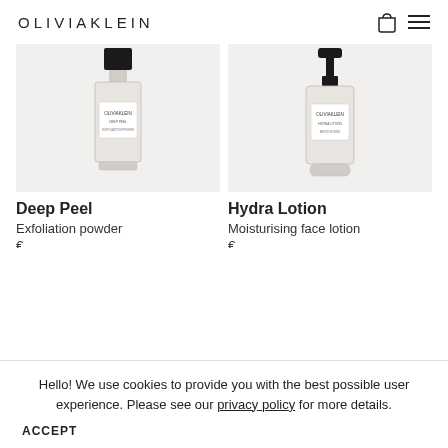OLIVIA KLEIN
[Figure (photo): Deep Peel product bottle with black cap on light beige background]
[Figure (photo): Hydra Lotion pump bottle with black pump on light beige background]
Deep Peel
Exfoliation powder
Hydra Lotion
Moisturising face lotion
Hello! We use cookies to provide you with the best possible user experience. Please see our privacy policy for more details.
ACCEPT